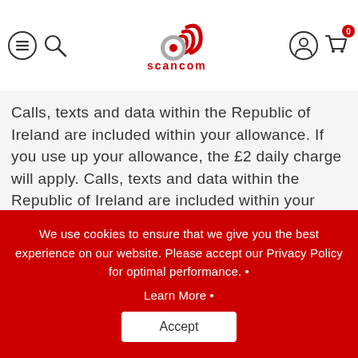Scancom navigation header with menu, search, logo, account and cart icons
Calls, texts and data within the Republic of Ireland are included within your allowance. If you use up your allowance, the £2 daily charge will apply.
Do I have any other options apart from paying a daily roaming charge?
Using the minutes, texts and data in the EU/EEA is no longer included in your plan allowance. However, if you're heading
We use cookies to ensure that we give you the best experience on our website. Please accept our Privacy Policy for optimal performance. • Learn More • Accept